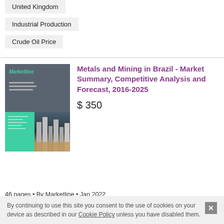United Kingdom
Industrial Production
Crude Oil Price
[Figure (illustration): Book cover for Metals and Mining in Brazil report by MarketLine, showing a gray top section with logo and text lines, a green bottom-left section, and a bottom-right photo of industrial silos/refinery at dusk.]
Metals and Mining in Brazil - Market Summary, Competitive Analysis and Forecast, 2016-2025
$ 350
46 pages • By MarketLine • Jan 2022
By continuing to use this site you consent to the use of cookies on your device as described in our Cookie Policy unless you have disabled them.